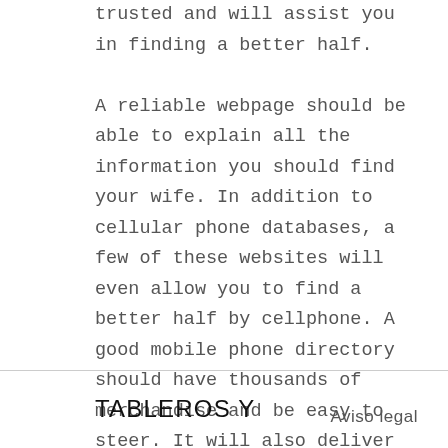trusted and will assist you in finding a better half. A reliable webpage should be able to explain all the information you should find your wife. In addition to cellular phone databases, a few of these websites will even allow you to find a better half by cellphone. A good mobile phone directory should have thousands of merchandise and be easy to steer. It will also deliver her data. There are also a great many other useful features that you can find online.
TABLEROS Y    Aviso legal